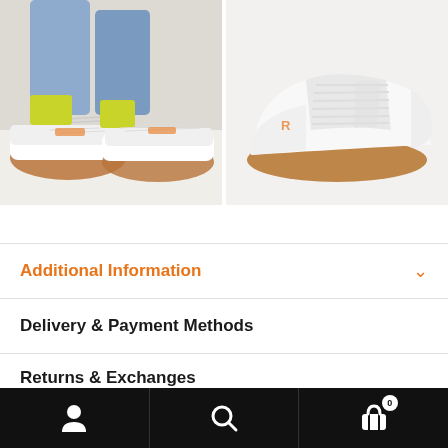[Figure (photo): Two sneaker product photos side by side. Left: close-up of feet wearing white Reebok sneakers with gum soles and yellow socks and blue jeans. Right: side view of white Reebok sneaker with gum sole on white background.]
Additional Information
Delivery & Payment Methods
Returns & Exchanges
Description
Navigation bar with user, search, and cart icons